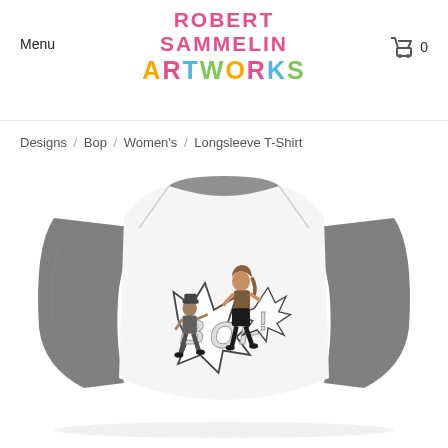Menu
ROBERT SAMMELIN ARTWORKS
0
Designs / Bop / Women's / Longsleeve T-Shirt
[Figure (photo): A white and grey baseball-style longsleeve T-shirt with a 'Bop' artwork design on the chest showing two dancing figures with comic-style text]